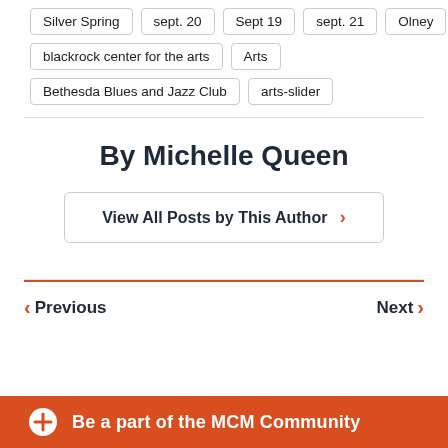Silver Spring
sept. 20
Sept 19
sept. 21
Olney
blackrock center for the arts
Arts
Bethesda Blues and Jazz Club
arts-slider
By Michelle Queen
View All Posts by This Author >
Previous
Next
Be a part of the MCM Community